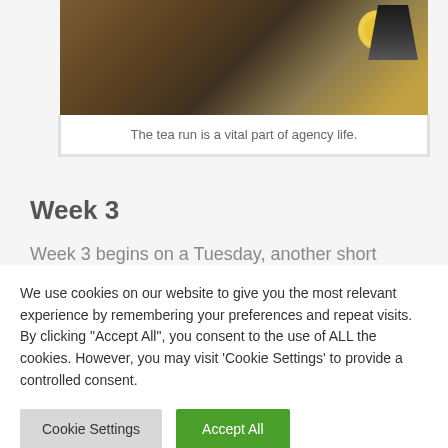[Figure (photo): Photo of tea-related items, partially visible at top of page, showing what appears to be a cup of tea or tea-making items]
The tea run is a vital part of agency life.
Week 3
Week 3 begins on a Tuesday, another short week, and I can't believe how quickly the time
We use cookies on our website to give you the most relevant experience by remembering your preferences and repeat visits. By clicking "Accept All", you consent to the use of ALL the cookies. However, you may visit 'Cookie Settings' to provide a controlled consent.